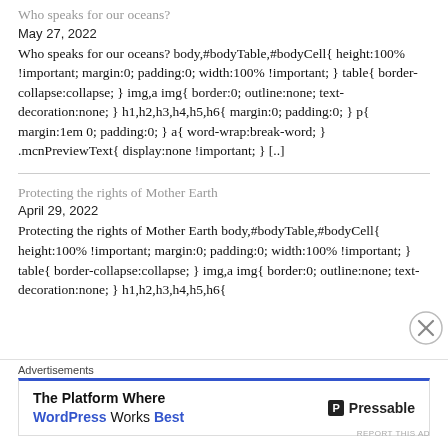Who speaks for our oceans?
May 27, 2022
Who speaks for our oceans? body,#bodyTable,#bodyCell{ height:100% !important; margin:0; padding:0; width:100% !important; } table{ border-collapse:collapse; } img,a img{ border:0; outline:none; text-decoration:none; } h1,h2,h3,h4,h5,h6{ margin:0; padding:0; } p{ margin:1em 0; padding:0; } a{ word-wrap:break-word; } .mcnPreviewText{ display:none !important; } [..]
Protecting the rights of Mother Earth
April 29, 2022
Protecting the rights of Mother Earth body,#bodyTable,#bodyCell{ height:100% !important; margin:0; padding:0; width:100% !important; } table{ border-collapse:collapse; } img,a img{ border:0; outline:none; text-decoration:none; } h1,h2,h3,h4,h5,h6{
Advertisements
[Figure (infographic): Advertisement banner for Pressable WordPress hosting: 'The Platform Where WordPress Works Best' with Pressable logo]